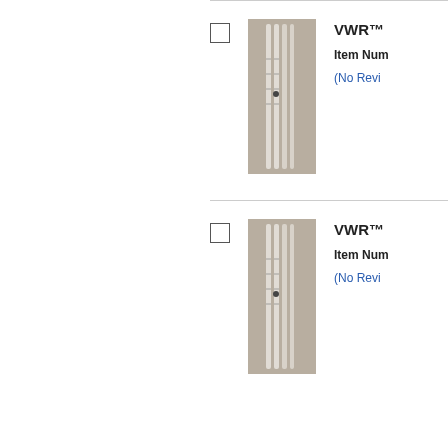[Figure (photo): Product listing row 1: checkbox, photo of laboratory pipettes/stirring rods in gray background, VWR brand product title (truncated), Item Number label, and (No Revi... link]
[Figure (photo): Product listing row 2: checkbox, photo of laboratory pipettes/stirring rods in gray background, VWR brand product title (truncated), Item Number label, and (No Revi... link]